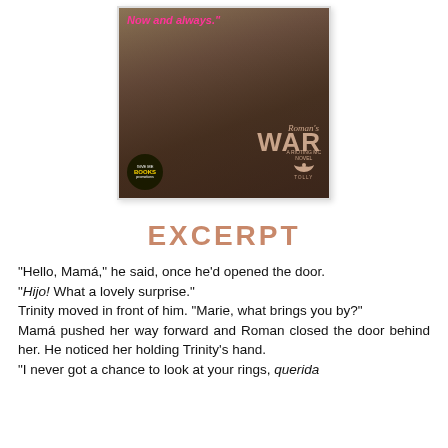[Figure (illustration): Book cover for 'Roman's WAR' showing a tattooed man, with pink text 'Now and always.' at top, 'WAR' in large text lower right, a Give Me Books Promotions badge at lower left, and series information.]
EXCERPT
“Hello, Mamá,” he said, once he’d opened the door. “Hijo! What a lovely surprise.” Trinity moved in front of him. “Marie, what brings you by?” Mamá pushed her way forward and Roman closed the door behind her. He noticed her holding Trinity’s hand. “I never got a chance to look at your rings, querida